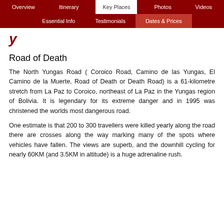Overview | Itinerary | Key Places | Photos | Videos | Essential Info | Testimonials | Dates & Prices
y
Road of Death
The North Yungas Road ( Coroico Road, Camino de las Yungas, El Camino de la Muerte, Road of Death or Death Road) is a 61-kilometre stretch from La Paz to Coroico, northeast of La Paz in the Yungas region of Bolivia. It is legendary for its extreme danger and in 1995 was christened the worlds most dangerous road.
One estimate is that 200 to 300 travellers were killed yearly along the road there are crosses along the way marking many of the spots where vehicles have fallen. The views are superb, and the downhill cycling for nearly 60KM (and 3.5KM in altitude) is a huge adrenaline rush.